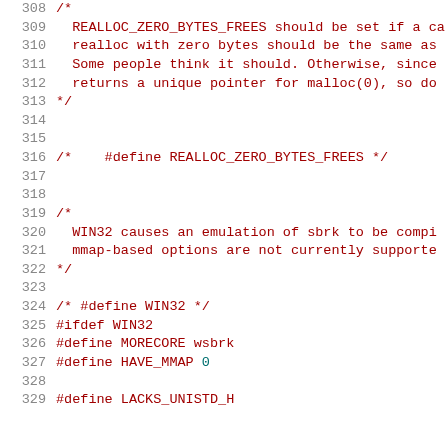308  /*
309    REALLOC_ZERO_BYTES_FREES should be set if a ca
310    realloc with zero bytes should be the same as
311    Some people think it should. Otherwise, since
312    returns a unique pointer for malloc(0), so do
313  */
314
315
316  /*    #define REALLOC_ZERO_BYTES_FREES */
317
318
319  /*
320    WIN32 causes an emulation of sbrk to be compi
321    mmap-based options are not currently supporte
322  */
323
324  /* #define WIN32 */
325  #ifdef WIN32
326  #define MORECORE wsbrk
327  #define HAVE_MMAP 0
328
329  #define LACKS_UNISTD_H